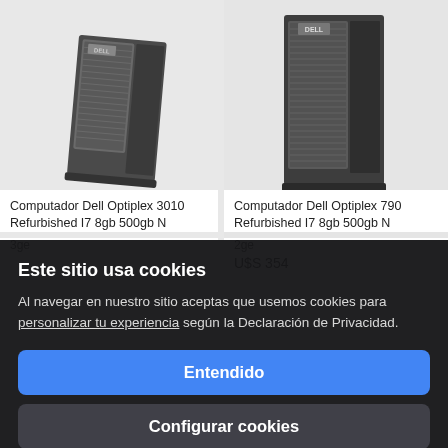[Figure (screenshot): Dell Optiplex 3010 desktop tower computer, left side, angled view, grey/black color]
Computador Dell Optiplex 3010 Refurbished I7 8gb 500gb N
3ge
[Figure (screenshot): Dell Optiplex 790 desktop tower computer, right side, angled view, grey/black color]
Computador Dell Optiplex 790 Refurbished I7 8gb 500gb N
2ge
U$S 354
Este sitio usa cookies
Al navegar en nuestro sitio aceptas que usemos cookies para personalizar tu experiencia según la Declaración de Privacidad.
Entendido
Configurar cookies